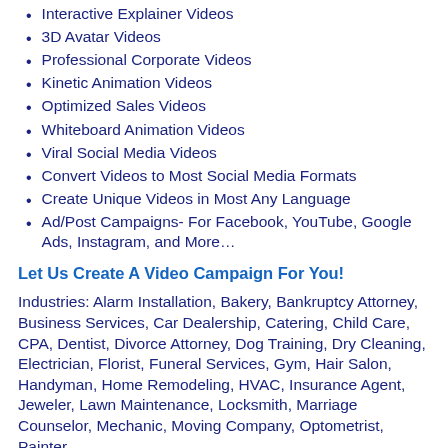Interactive Explainer Videos
3D Avatar Videos
Professional Corporate Videos
Kinetic Animation Videos
Optimized Sales Videos
Whiteboard Animation Videos
Viral Social Media Videos
Convert Videos to Most Social Media Formats
Create Unique Videos in Most Any Language
Ad/Post Campaigns- For Facebook, YouTube, Google Ads, Instagram, and More…
Let Us Create A Video Campaign For You!
Industries: Alarm Installation, Bakery, Bankruptcy Attorney, Business Services, Car Dealership, Catering, Child Care, CPA, Dentist, Divorce Attorney, Dog Training, Dry Cleaning, Electrician, Florist, Funeral Services, Gym, Hair Salon, Handyman, Home Remodeling, HVAC, Insurance Agent, Jeweler, Lawn Maintenance, Locksmith, Marriage Counselor, Mechanic, Moving Company, Optometrist, Painter, Business and Corporate, Pawn Shop, Plumber…